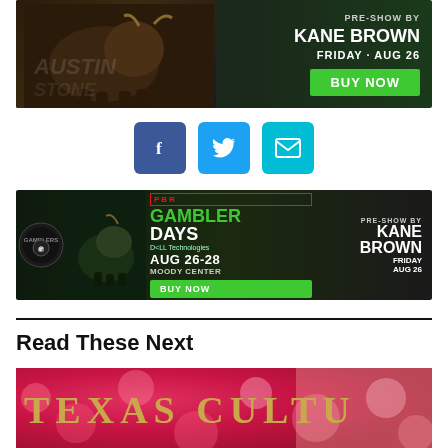[Figure (illustration): PBR event advertisement banner showing a bull, Kane Brown performer photo, text 'PRE-SHOW BY KANE BROWN FRIDAY · AUG 26' and a green 'BUY NOW' button]
[Figure (illustration): Three social sharing buttons: Facebook (blue), Twitter (light blue), and Email (teal)]
[Figure (illustration): PBR Gambler Days advertisement banner showing 'PBR GAMBLER DAYS AUG 26-28 MOODY CENTER' with Kane Brown 'PRE-SHOW BY KANE BROWN FRIDAY AUG 26' and a green 'BUY NOW' button]
Read These Next
[Figure (illustration): Partial image showing 'TEXAS CULTU[RE]' text in gold on a pink/red textured background]